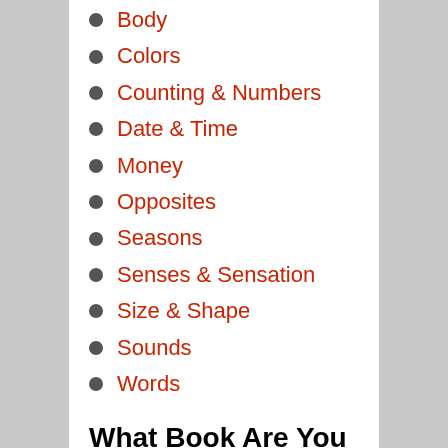Body
Colors
Counting & Numbers
Date & Time
Money
Opposites
Seasons
Senses & Sensation
Size & Shape
Sounds
Words
What Book Are You Looking For?
[Figure (other): Search input box with placeholder text 'title, author, keyword or ISBN' and a search button]
Browse Books: Juvenile